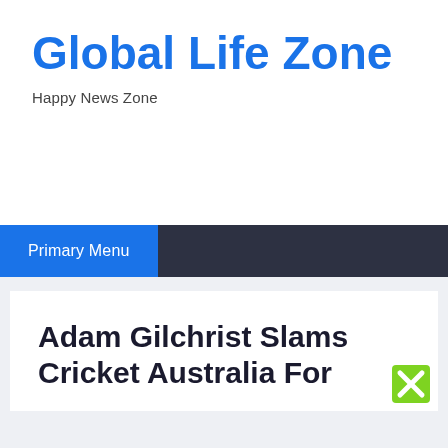Global Life Zone
Happy News Zone
Primary Menu
Adam Gilchrist Slams Cricket Australia For